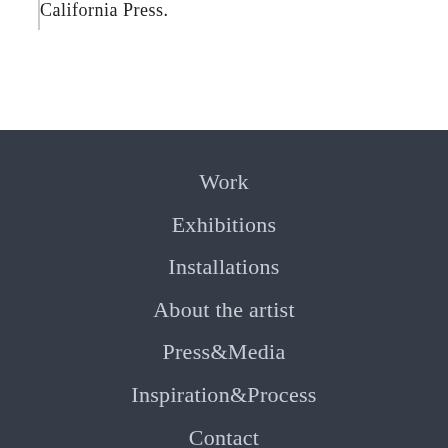California Press.
Work
Exhibitions
Installations
About the artist
Press&Media
Inspiration&Process
Contact